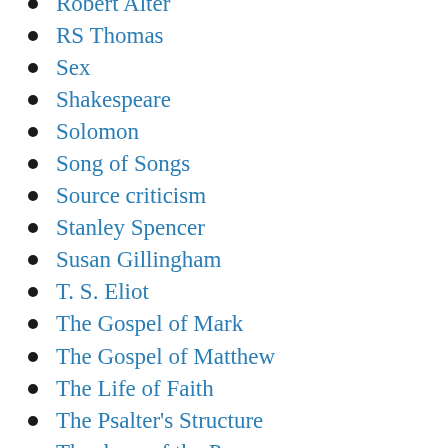Robert Alter
RS Thomas
Sex
Shakespeare
Solomon
Song of Songs
Source criticism
Stanley Spencer
Susan Gillingham
T. S. Eliot
The Gospel of Mark
The Gospel of Matthew
The Life of Faith
The Psalter's Structure
Theology of the Poor
Thomas Merton
Tolkien